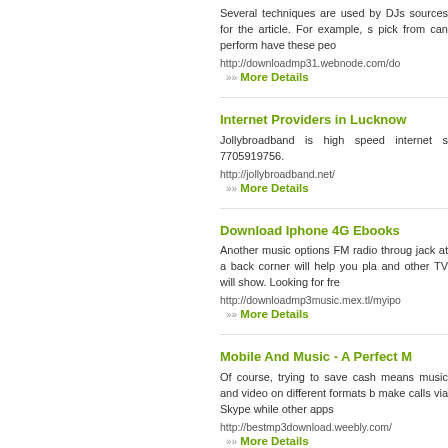Several techniques are used by DJs sources for the article. For example, s pick from can perform have these peo
http://downloadmp31.webnode.com/do
»» More Details
Internet Providers in Lucknow
Jollybroadband is high speed internet s 7705919756.
http://jollybroadband.net/
»» More Details
Download Iphone 4G Ebooks
Another music options FM radio throug jack at a back corner will help you pla and other TV will show. Looking for fre
http://downloadmp3music.mex.tl/myipo
»» More Details
Mobile And Music - A Perfect M
Of course, trying to save cash means music and video on different formats b make calls via Skype while other apps
http://bestmp3download.weebly.com/
»» More Details
How To Download And Play Mu
Don't the type...